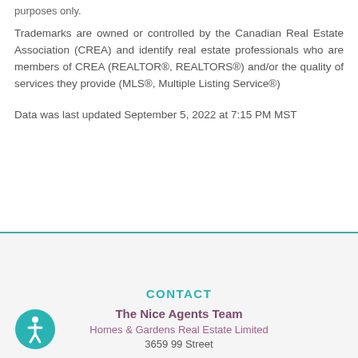purposes only.
Trademarks are owned or controlled by the Canadian Real Estate Association (CREA) and identify real estate professionals who are members of CREA (REALTOR®, REALTORS®) and/or the quality of services they provide (MLS®, Multiple Listing Service®)
Data was last updated September 5, 2022 at 7:15 PM MST
CONTACT
The Nice Agents Team
Homes & Gardens Real Estate Limited
3659 99 Street